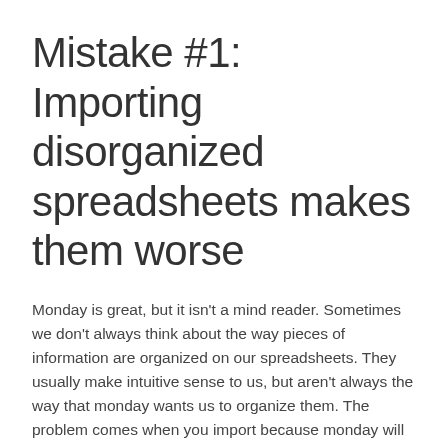Mistake #1: Importing disorganized spreadsheets makes them worse
Monday is great, but it isn't a mind reader. Sometimes we don't always think about the way pieces of information are organized on our spreadsheets. They usually make intuitive sense to us, but aren't always the way that monday wants us to organize them. The problem comes when you import because monday will basically pull the formatting you have, even if you don't necessarily want the columns in that order.